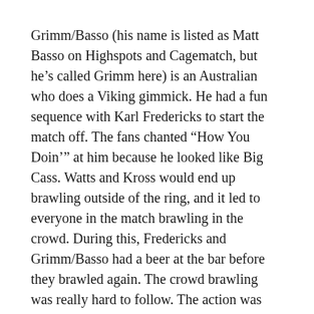Grimm/Basso (his name is listed as Matt Basso on Highspots and Cagematch, but he's called Grimm here) is an Australian who does a Viking gimmick. He had a fun sequence with Karl Fredericks to start the match off. The fans chanted “How You Doin’” at him because he looked like Big Cass. Watts and Kross would end up brawling outside of the ring, and it led to everyone in the match brawling in the crowd. During this, Fredericks and Grimm/Basso had a beer at the bar before they brawled again. The crowd brawling was really hard to follow. The action was happening all over the place, and the camera crew had a hard time keeping up. This might’ve been a fun match to witness in person, but it didn’t come across well on film.